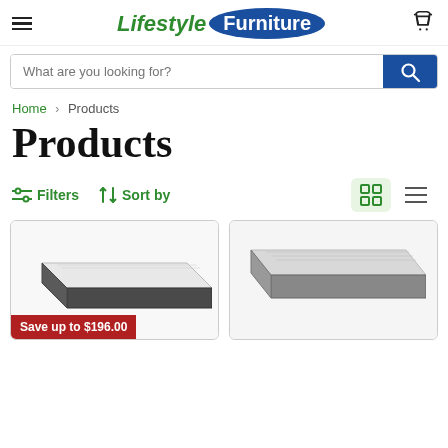Lifestyle Furniture
What are you looking for?
Home > Products
Products
Filters  Sort by
[Figure (photo): Mattress product image with 'Save up to $196.00' badge]
[Figure (photo): Mattress product image (second product)]